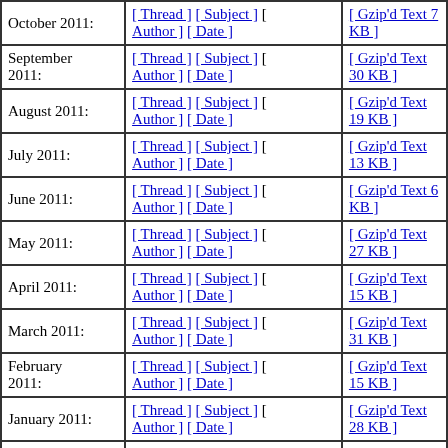| Month | Sort links | Archive |
| --- | --- | --- |
| October 2011: | [ Thread ] [ Subject ] [ Author ] [ Date ] | [ Gzip'd Text 7 KB ] |
| September 2011: | [ Thread ] [ Subject ] [ Author ] [ Date ] | [ Gzip'd Text 30 KB ] |
| August 2011: | [ Thread ] [ Subject ] [ Author ] [ Date ] | [ Gzip'd Text 19 KB ] |
| July 2011: | [ Thread ] [ Subject ] [ Author ] [ Date ] | [ Gzip'd Text 13 KB ] |
| June 2011: | [ Thread ] [ Subject ] [ Author ] [ Date ] | [ Gzip'd Text 6 KB ] |
| May 2011: | [ Thread ] [ Subject ] [ Author ] [ Date ] | [ Gzip'd Text 27 KB ] |
| April 2011: | [ Thread ] [ Subject ] [ Author ] [ Date ] | [ Gzip'd Text 15 KB ] |
| March 2011: | [ Thread ] [ Subject ] [ Author ] [ Date ] | [ Gzip'd Text 31 KB ] |
| February 2011: | [ Thread ] [ Subject ] [ Author ] [ Date ] | [ Gzip'd Text 15 KB ] |
| January 2011: | [ Thread ] [ Subject ] [ Author ] [ Date ] | [ Gzip'd Text 28 KB ] |
| December 2010: | [ Thread ] [ Subject ] [ Author ] [ Date ] | [ Gzip'd Text 44 KB ] |